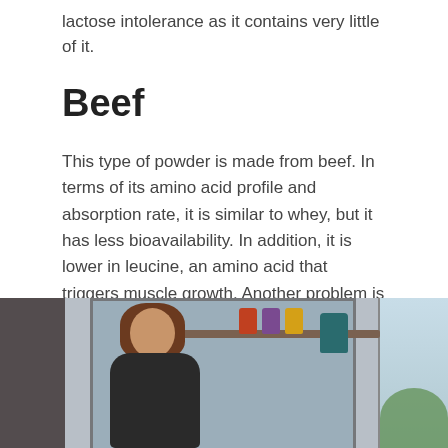lactose intolerance as it contains very little of it.
Beef
This type of powder is made from beef. In terms of its amino acid profile and absorption rate, it is similar to whey, but it has less bioavailability. In addition, it is lower in leucine, an amino acid that triggers muscle growth. Another problem is the poorer solubility and specific flavor, which manufacturers have to clog with aggressive flavors and sweeteners.
[Figure (photo): A woman in a kitchen looking at shelves with supplement jars and a teal supplement bag, with a window showing greenery on the right side.]